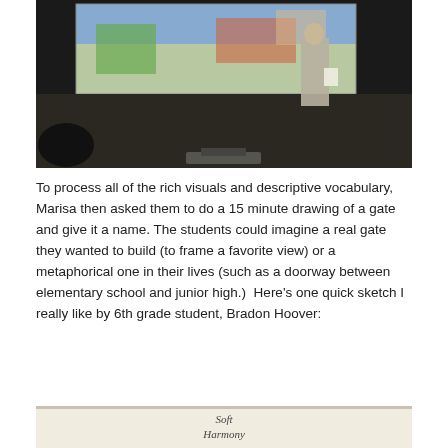[Figure (photo): A person standing in front of a projection screen showing a colorful outdoor image, in a dark room with audience members visible.]
To process all of the rich visuals and descriptive vocabulary, Marisa then asked them to do a 15 minute drawing of a gate and give it a name.  The students could imagine a real gate they wanted to build (to frame a favorite view) or a metaphorical one in their lives (such as a doorway between elementary school and junior high.)  Here's one quick sketch I really like by 6th grade student, Bradon Hoover:
[Figure (photo): A student sketch on white paper with the text 'Soft Harmony' written at the top.]